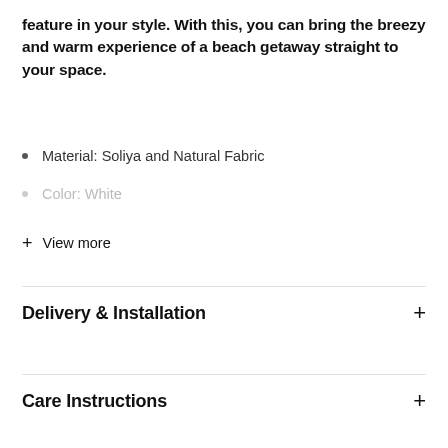feature in your style. With this, you can bring the breezy and warm experience of a beach getaway straight to your space.
Material: Soliya and Natural Fabric
Color: White
+ View more
Delivery & Installation
Care Instructions